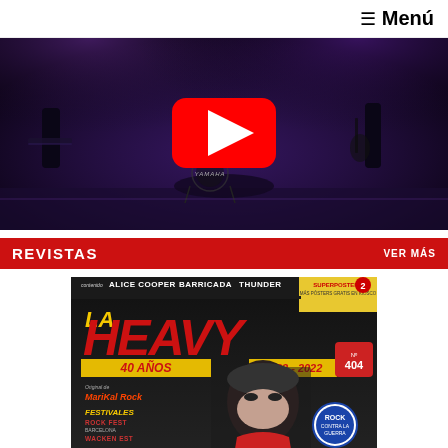≡ Menú
[Figure (photo): YouTube video thumbnail showing a rock band performing on stage with purple lighting. A Yamaha drum kit is visible in the center, with musicians playing keyboard and guitar. A red YouTube play button overlay is in the center.]
REVISTAS   VER MÁS
[Figure (photo): Magazine cover of 'La Heavy' No. 404, celebrating 40 years (1982-2022). Cover features Ozzy Osbourne. Includes text: ALICE COOPER BARRICADA THUNDER, SUPERPOSTERS, 40 AÑOS 1982-2022, Original de Marikal Rock, FESTIVALES, ROCK FEST BARCELONA, WACKEN FEST, ROCK CONTRA LA GUERRA. Number 2 badge visible.]